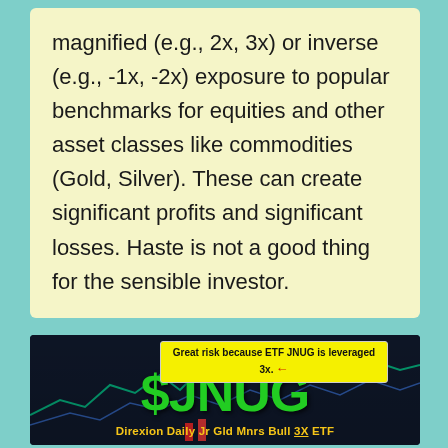magnified (e.g., 2x, 3x) or inverse (e.g., -1x, -2x) exposure to popular benchmarks for equities and other asset classes like commodities (Gold, Silver). These can create significant profits and significant losses. Haste is not a good thing for the sensible investor.
[Figure (infographic): Dark background financial chart image featuring the ticker symbol $JNUG in large green text, with subtitle 'Direxion Daily Jr Gld Mnrs Bull 3X ETF' in yellow. A yellow callout box states 'Great risk because ETF JNUG is leveraged 3x.' with a red arrow pointing left.]